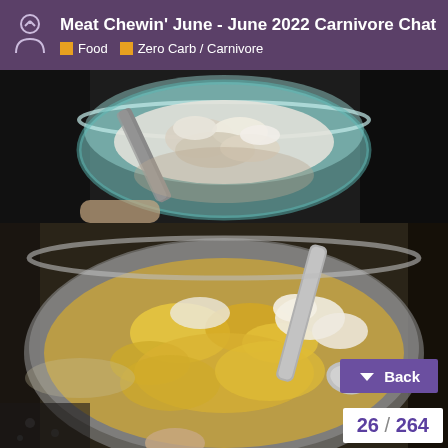Meat Chewin' June - June 2022 Carnivore Chat | Food | Zero Carb / Carnivore
[Figure (photo): Top-down view of a glass bowl or measuring cup containing a white/translucent chunky substance, with a spoon or utensil visible, on a dark background.]
[Figure (photo): Close-up of a metal mixing bowl containing scrambled eggs or egg-butter mixture being stirred with a spoon, with visible yellow curds and white cream, on a dark countertop.]
Back
26 / 264